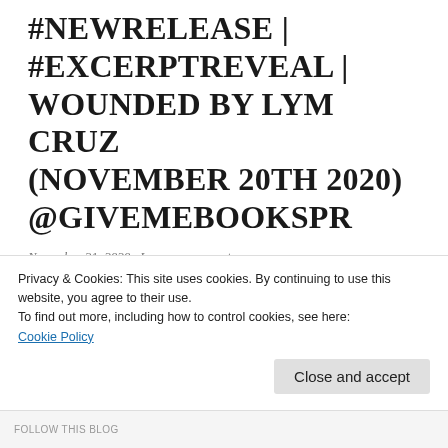#NEWRELEASE | #EXCERPTREVEAL | WOUNDED BY LYM CRUZ (NOVEMBER 20TH 2020) @GIVEMEBOOKSPR
November 21, 2020   Leave a comment
Title: WoundedSeries: Imperfectly Perfect #4Author: Lym CruzGenre: Contemporary Romance – Release Date: November 20...
Privacy & Cookies: This site uses cookies. By continuing to use this website, you agree to their use.
To find out more, including how to control cookies, see here:
Cookie Policy
Close and accept